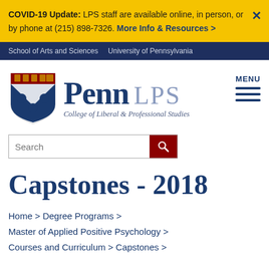COVID-19 Update: LPS staff are available online, in person, or by phone at (215) 898-7326. More Info & Resources >
School of Arts and Sciences   University of Pennsylvania
[Figure (logo): Penn LPS - College of Liberal & Professional Studies logo with Penn shield]
Capstones - 2018
Home > Degree Programs > Master of Applied Positive Psychology > Courses and Curriculum > Capstones >